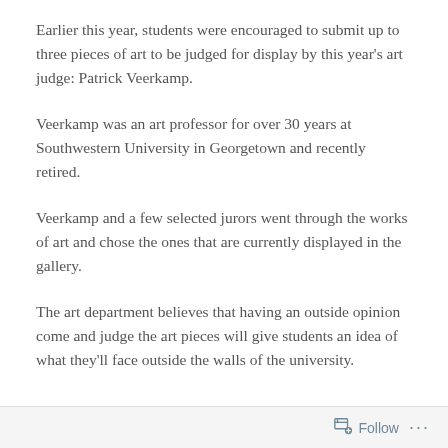Earlier this year, students were encouraged to submit up to three pieces of art to be judged for display by this year's art judge: Patrick Veerkamp.
Veerkamp was an art professor for over 30 years at Southwestern University in Georgetown and recently retired.
Veerkamp and a few selected jurors went through the works of art and chose the ones that are currently displayed in the gallery.
The art department believes that having an outside opinion come and judge the art pieces will give students an idea of what they'll face outside the walls of the university.
Follow ···